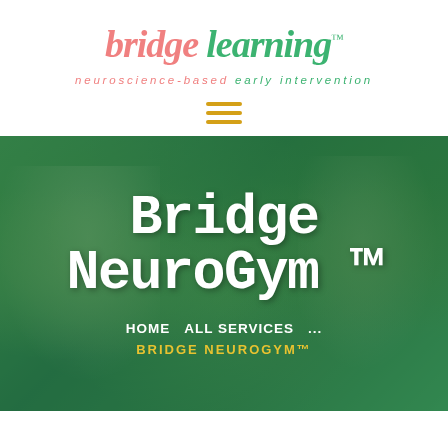bridge learning™
neuroscience-based early intervention
[Figure (other): Hamburger menu icon with three horizontal yellow/gold lines]
[Figure (photo): Hero image of children lying on grass with green overlay. Large text reads 'Bridge NeuroGym™' in white bold monospace font. Navigation breadcrumb below: HOME > ALL SERVICES > ... > BRIDGE NEUROGYM™]
HOME    ALL SERVICES    ...
BRIDGE NEUROGYM™